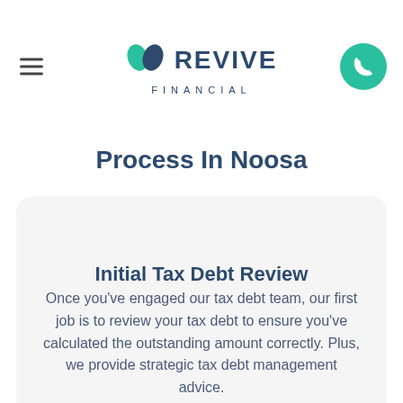[Figure (logo): Revive Financial logo with teal and navy leaf icon, company name REVIVE FINANCIAL]
Process In Noosa
Initial Tax Debt Review
Once you've engaged our tax debt team, our first job is to review your tax debt to ensure you've calculated the outstanding amount correctly. Plus, we provide strategic tax debt management advice.